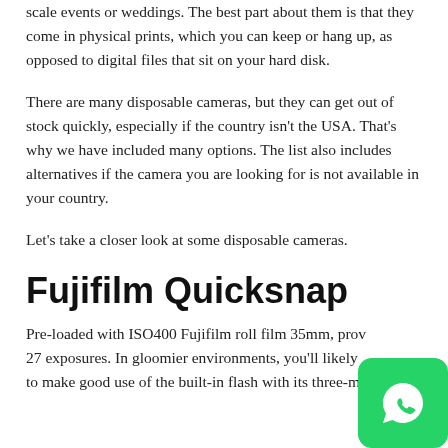scale events or weddings. The best part about them is that they come in physical prints, which you can keep or hang up, as opposed to digital files that sit on your hard disk.
There are many disposable cameras, but they can get out of stock quickly, especially if the country isn't the USA. That's why we have included many options. The list also includes alternatives if the camera you are looking for is not available in your country.
Let's take a closer look at some disposable cameras.
Fujifilm Quicksnap
Pre-loaded with ISO400 Fujifilm roll film 35mm, prov… 27 exposures. In gloomier environments, you'll likely… to make good use of the built-in flash with its three-metre…